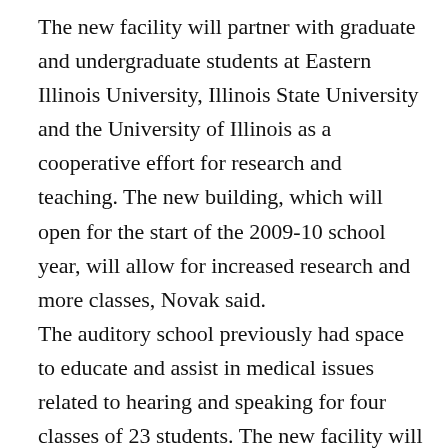The new facility will partner with graduate and undergraduate students at Eastern Illinois University, Illinois State University and the University of Illinois as a cooperative effort for research and teaching. The new building, which will open for the start of the 2009-10 school year, will allow for increased research and more classes, Novak said.
The auditory school previously had space to educate and assist in medical issues related to hearing and speaking for four classes of 23 students. The new facility will have space for nine classes of 54 students.
Recent graduates from the auditory school were present at the ground breaking, which followed